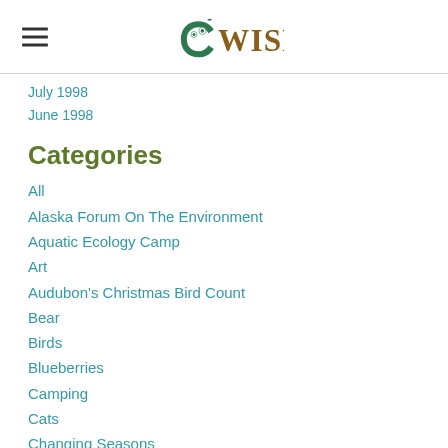WISE
July 1998
June 1998
Categories
All
Alaska Forum On The Environment
Aquatic Ecology Camp
Art
Audubon's Christmas Bird Count
Bear
Birds
Blueberries
Camping
Cats
Changing Seasons
Chosen Frozen
Christmas Bird Count
Chosen Deer